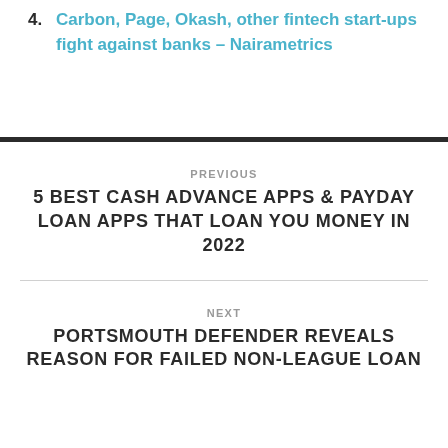4. Carbon, Page, Okash, other fintech start-ups fight against banks – Nairametrics
PREVIOUS
5 BEST CASH ADVANCE APPS & PAYDAY LOAN APPS THAT LOAN YOU MONEY IN 2022
NEXT
PORTSMOUTH DEFENDER REVEALS REASON FOR FAILED NON-LEAGUE LOAN